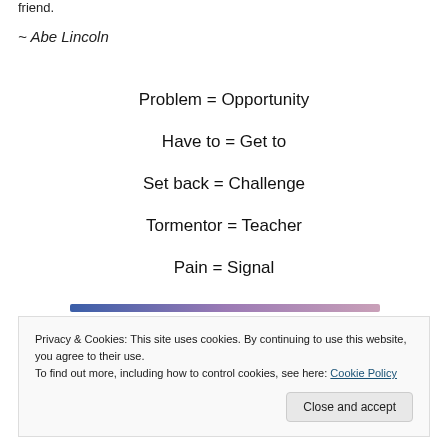~ Abe Lincoln
Problem = Opportunity
Have to = Get to
Set back = Challenge
Tormentor = Teacher
Pain = Signal
Privacy & Cookies: This site uses cookies. By continuing to use this website, you agree to their use. To find out more, including how to control cookies, see here: Cookie Policy